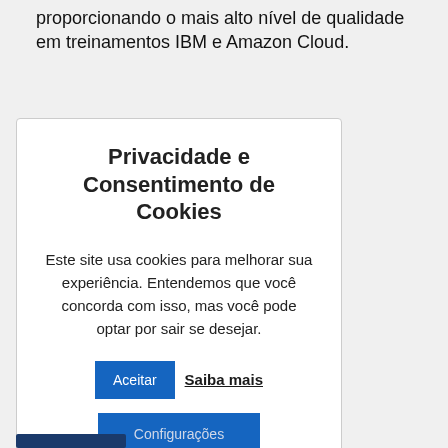proporcionando o mais alto nível de qualidade em treinamentos IBM e Amazon Cloud.
Privacidade e Consentimento de Cookies
Este site usa cookies para melhorar sua experiência. Entendemos que você concorda com isso, mas você pode optar por sair se desejar.
Aceitar  Saiba mais
Configurações